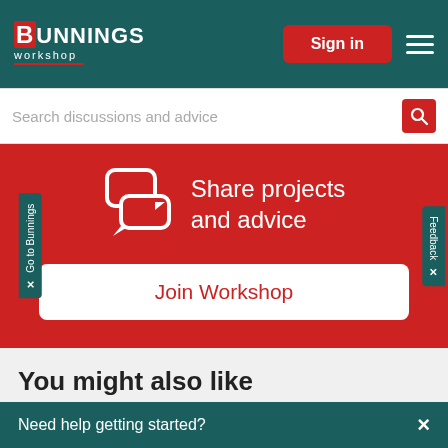[Figure (screenshot): Bunnings Workshop website screenshot showing navigation bar with logo, Sign in button, search bar, red promo block with chat icon and Join Workshop button, and 'You might also like' section]
BUNNINGS workshop
Sign in
Search discussions and advice
Share projects and advice
Join Workshop
You might also like
Stuardo
Need help getting started?